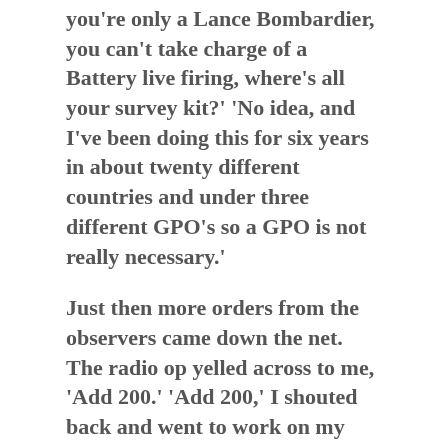you're only a Lance Bombardier, you can't take charge of a Battery live firing, where's all your survey kit?'  'No idea, and I've been doing this for six years in about twenty different countries and under three different GPO's so a GPO is not really necessary.'
Just then more orders from the observers came down the net.  The radio op yelled across to me, 'Add 200.'  'Add 200,' I shouted back and went to work on my slide rule.
'What are you doing!' said the gunnery Instructor. 'What I was taught in the School of Artillery,' I replied.  'I know we teach you that but that is for emergencies and this is practice firing,' he almost wailed 'We're practising for an emergency,' I said